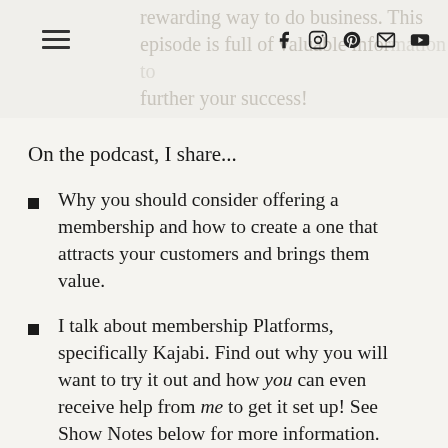rewarding way to do business. This episode is full of valuable information to further your success!
On the podcast, I share...
Why you should consider offering a membership and how to create a one that attracts your customers and brings them value.
I talk about membership Platforms, specifically Kajabi. Find out why you will want to try it out and how you can even receive help from me to get it set up! See Show Notes below for more information.
I cover the Nuts and Bolts in a Membership. Wondering what to offer that will keep your